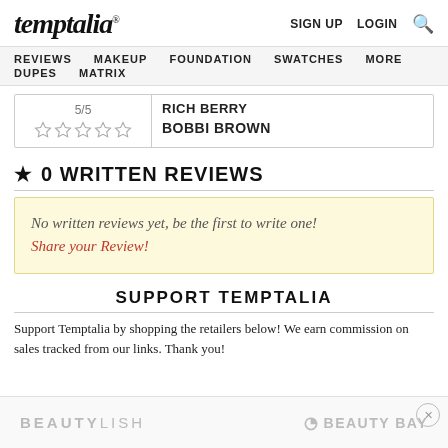temptalia® — SIGN UP  LOGIN  🔍
REVIEWS  MAKEUP  FOUNDATION  SWATCHES  MORE  DUPES  MATRIX
5/5  ☆☆☆☆☆  RICH BERRY  BOBBI BROWN
★ 0 WRITTEN REVIEWS
No written reviews yet, be the first to write one!
Share your Review!
SUPPORT TEMPTALIA
Support Temptalia by shopping the retailers below! We earn commission on sales tracked from our links. Thank you!
[Figure (logo): BEAUTYLISH and BEAUTY BAY logos in the ad bar at the bottom]